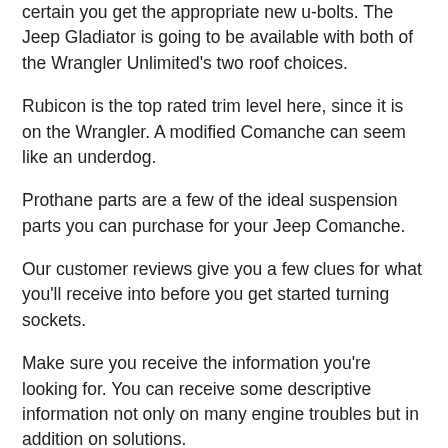certain you get the appropriate new u-bolts. The Jeep Gladiator is going to be available with both of the Wrangler Unlimited's two roof choices.
Rubicon is the top rated trim level here, since it is on the Wrangler. A modified Comanche can seem like an underdog.
Prothane parts are a few of the ideal suspension parts you can purchase for your Jeep Comanche.
Our customer reviews give you a few clues for what you'll receive into before you get started turning sockets.
Make sure you receive the information you're looking for. You can receive some descriptive information not only on many engine troubles but in addition on solutions.
Jeep Comanche Lifted